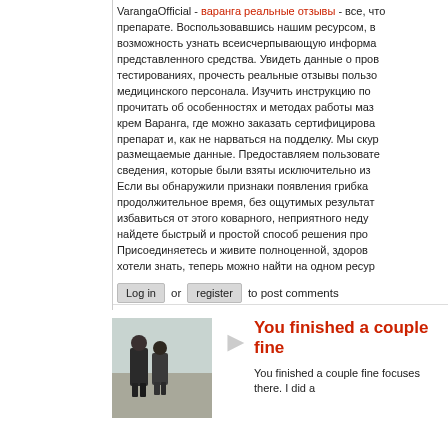VarangaOfficial - варанга реальные отзывы - все, что нужно знать о препарате. Воспользовавшись нашим ресурсом, вы получите возможность узнать всеисчерпывающую информацию о представленного средства. Увидеть данные о проведённых тестированиях, прочесть реальные отзывы пользователей и медицинского персонала. Изучить инструкцию по применению, прочитать об особенностях и методах работы мази и кремВаранга, где можно заказать сертифицированный препарат и, как не нарваться на подделку. Мы скурпулёзно проверяем размещаемые данные. Предоставляем пользователям только те сведения, которые были взяты исключительно из... Если вы обнаружили признаки появления грибка и лечитесь на протяжениепродолжительное время, без ощутимых результатов. Мечтаете избавиться от этого коварного, неприятного недуга навсегда. Здесь вы найдете быстрый и простой способ решения проблемы. Присоединяетесь и живите полноценной, здоровой жизнью. Всё, что хотели знать, теперь можно найти на одном ресурсе.
Log in or register to post comments
[Figure (photo): Avatar photo of two people standing outdoors]
You finished a couple fine
You finished a couple fine focuses there. I did a